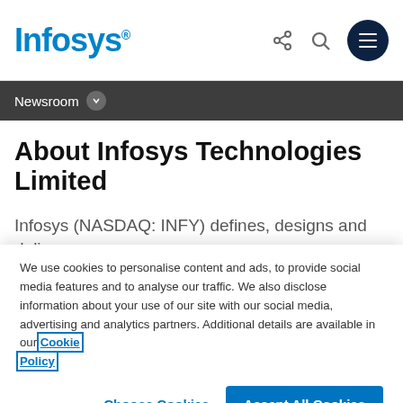Infosys® | Share | Search | Menu
Newsroom ▾
About Infosys Technologies Limited
Infosys (NASDAQ: INFY) defines, designs and delivers IT-enabled business solutions that help Global 2000...
We use cookies to personalise content and ads, to provide social media features and to analyse our traffic. We also disclose information about your use of our site with our social media, advertising and analytics partners. Additional details are available in our Cookie Policy
Choose Cookies | Accept All Cookies